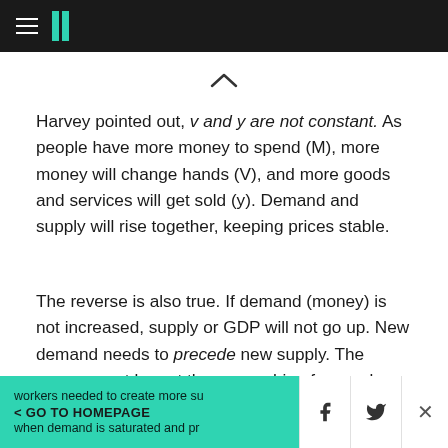HuffPost navigation header
Harvey pointed out, v and y are not constant. As people have more money to spend (M), more money will change hands (V), and more goods and services will get sold (y). Demand and supply will rise together, keeping prices stable.
The reverse is also true. If demand (money) is not increased, supply or GDP will not go up. New demand needs to precede new supply. The money must be out there searching for goods and services before employers will add the workers needed to create more supply. Only when demand is saturated and productivity is at